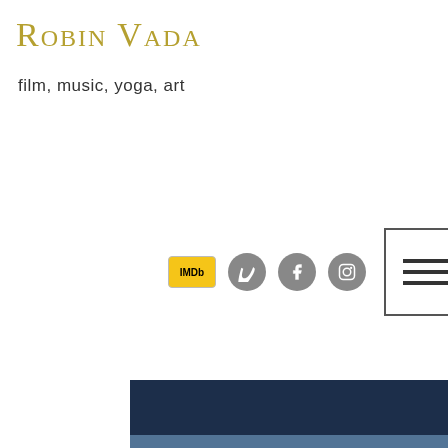Robin Vada
film, music, yoga, art
[Figure (screenshot): Social media icons row: IMDb badge, Vimeo circle, Facebook circle, Instagram circle, and hamburger menu button]
ery
WEIRDO
Whatever happens in her presence isn't quite normal. Opera can make her orgasm, toys can come to life and burst
[Figure (screenshot): Bottom navigation bar with phone, email, and Instagram icons]